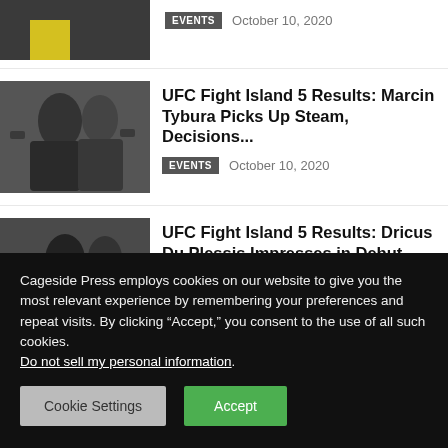[Figure (photo): Partial image of UFC fighters, yellow shorts visible]
EVENTS   October 10, 2020
[Figure (photo): Two UFC fighters, one punching the other in the octagon]
UFC Fight Island 5 Results: Marcin Tybura Picks Up Steam, Decisions...
EVENTS   October 10, 2020
[Figure (photo): Two UFC fighters exchanging blows in the octagon]
UFC Fight Island 5 Results: Dricus Du Plessis Impresses in Debut...
EVENTS   October 10, 2020
Cageside Press employs cookies on our website to give you the most relevant experience by remembering your preferences and repeat visits. By clicking “Accept,” you consent to the use of all such cookies. Do not sell my personal information.
Cookie Settings
Accept